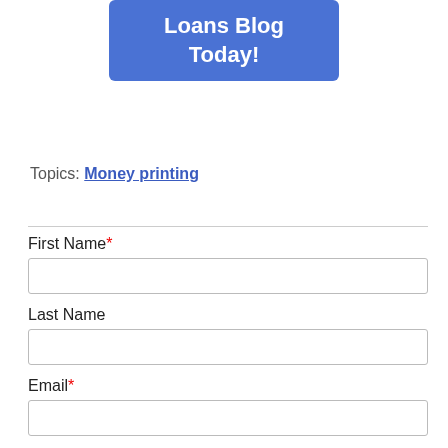[Figure (other): Blue button with white text reading 'Loans Blog Today!']
Topics: Money printing
First Name*
Last Name
Email*
Website